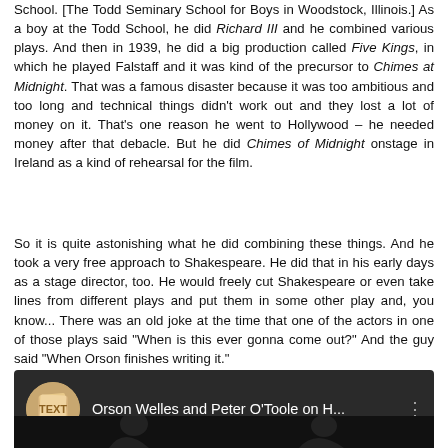School. [The Todd Seminary School for Boys in Woodstock, Illinois.] As a boy at the Todd School, he did Richard III and he combined various plays. And then in 1939, he did a big production called Five Kings, in which he played Falstaff and it was kind of the precursor to Chimes at Midnight. That was a famous disaster because it was too ambitious and too long and technical things didn't work out and they lost a lot of money on it. That's one reason he went to Hollywood – he needed money after that debacle. But he did Chimes of Midnight onstage in Ireland as a kind of rehearsal for the film.
So it is quite astonishing what he did combining these things. And he took a very free approach to Shakespeare. He did that in his early days as a stage director, too. He would freely cut Shakespeare or even take lines from different plays and put them in some other play and, you know... There was an old joke at the time that one of the actors in one of those plays said "When is this ever gonna come out?" And the guy said "When Orson finishes writing it."
[Figure (screenshot): YouTube video thumbnail showing 'Orson Welles and Peter O'Toole on H...' with a circular channel icon showing book pages with 'TP' badge, and two men visible in a black and white image below.]